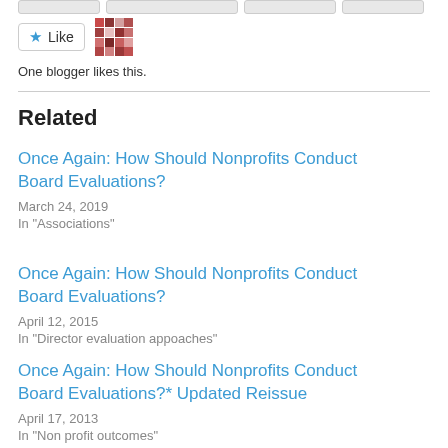[Figure (other): Like button with blue star icon and avatar mosaic image]
One blogger likes this.
Related
Once Again: How Should Nonprofits Conduct Board Evaluations?
March 24, 2019
In "Associations"
Once Again: How Should Nonprofits Conduct Board Evaluations?
April 12, 2015
In "Director evaluation appoaches"
Once Again: How Should Nonprofits Conduct Board Evaluations?* Updated Reissue
April 17, 2013
In "Non profit outcomes"